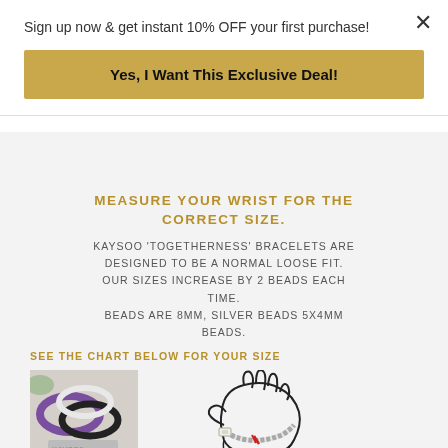Sign up now & get instant 10% OFF your first purchase!
Yes, I Want This Exclusive Deal!
MEASURE YOUR WRIST FOR THE CORRECT SIZE.
KAYSOO 'TOGETHERNESS' BRACELETS ARE DESIGNED TO BE A NORMAL LOOSE FIT. OUR SIZES INCREASE BY 2 BEADS EACH TIME. BEADS ARE 8MM, SILVER BEADS 5X4MM BEADS.
SEE THE CHART BELOW FOR YOUR SIZE
[Figure (photo): Photo of multiple beaded bracelets including purple and black/white beads on a display stand]
[Figure (illustration): Line illustration showing a hand/wrist with a measuring tape wrapped around the wrist, with a red mark indicating measurement point]